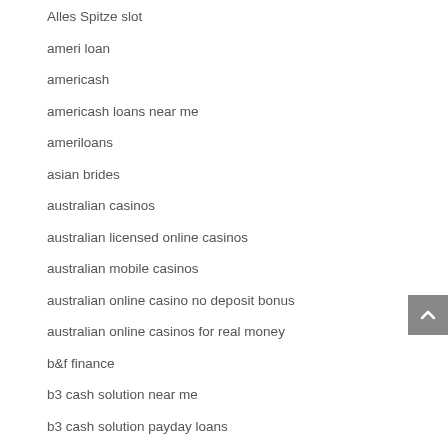Alles Spitze slot
ameri loan
americash
americash loans near me
ameriloans
asian brides
australian casinos
australian licensed online casinos
australian mobile casinos
australian online casino no deposit bonus
australian online casinos for real money
b&f finance
b3 cash solution near me
b3 cash solution payday loans
Beautiful Asian Woman